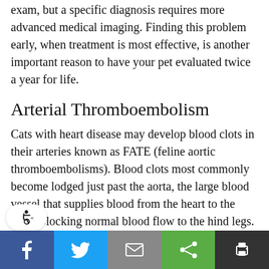exam, but a specific diagnosis requires more advanced medical imaging. Finding this problem early, when treatment is most effective, is another important reason to have your pet evaluated twice a year for life.
Arterial Thromboembolism
Cats with heart disease may develop blood clots in their arteries known as FATE (feline aortic thromboembolisms). Blood clots most commonly become lodged just past the aorta, the large blood vessel that supplies blood from the heart to the body, blocking normal blood flow to the hind legs. When this happens, one or both hind legs may become paralyzed, cold, or painful. FATE is a